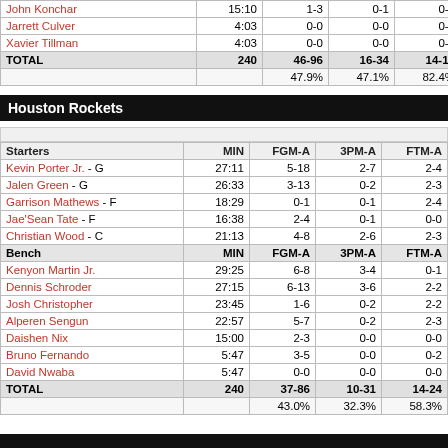| Player | MIN | FGM-A | 3PM-A | FTM-A |
| --- | --- | --- | --- | --- |
| John Konchar | 15:10 | 1-3 | 0-1 | 0-0 |
| Jarrett Culver | 4:03 | 0-0 | 0-0 | 0-2 |
| Xavier Tillman | 4:03 | 0-0 | 0-0 | 0-0 |
| TOTAL | 240 | 46-96 | 16-34 | 14-17 |
|  |  | 47.9% | 47.1% | 82.4% |
Houston Rockets
| Starters | MIN | FGM-A | 3PM-A | FTM-A |
| --- | --- | --- | --- | --- |
| Kevin Porter Jr. - G | 27:11 | 5-18 | 2-7 | 2-4 |
| Jalen Green - G | 26:33 | 3-13 | 0-2 | 2-3 |
| Garrison Mathews - F | 18:29 | 0-1 | 0-1 | 2-4 |
| Jae'Sean Tate - F | 16:38 | 2-4 | 0-1 | 0-0 |
| Christian Wood - C | 21:13 | 4-8 | 2-6 | 2-3 |
| Bench | MIN | FGM-A | 3PM-A | FTM-A |
| Kenyon Martin Jr. | 29:25 | 6-8 | 3-4 | 0-1 |
| Dennis Schroder | 27:15 | 6-13 | 3-6 | 2-2 |
| Josh Christopher | 23:45 | 1-6 | 0-2 | 2-2 |
| Alperen Sengun | 22:57 | 5-7 | 0-2 | 2-3 |
| Daishen Nix | 15:00 | 2-3 | 0-0 | 0-0 |
| Bruno Fernando | 5:47 | 3-5 | 0-0 | 0-2 |
| David Nwaba | 5:47 | 0-0 | 0-0 | 0-0 |
| TOTAL | 240 | 37-86 | 10-31 | 14-24 |
|  |  | 43.0% | 32.3% | 58.3% |